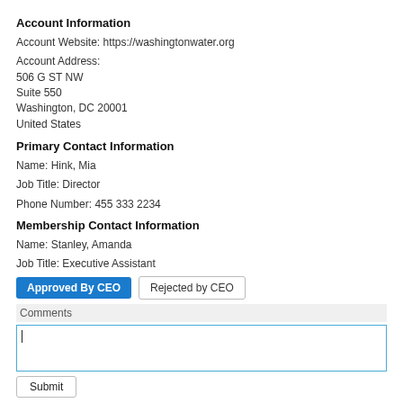Account Information
Account Website: https://washingtonwater.org
Account Address:
506 G ST NW
Suite 550
Washington, DC 20001
United States
Primary Contact Information
Name: Hink, Mia
Job Title: Director
Phone Number: 455 333 2234
Membership Contact Information
Name: Stanley, Amanda
Job Title: Executive Assistant
Approved By CEO | Rejected by CEO
Comments
Submit
Submitting this form sends an email notification to a member and saves the membership record.